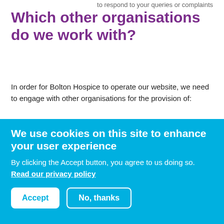to respond to your queries or complaints
Which other organisations do we work with?
In order for Bolton Hospice to operate our website, we need to engage with other organisations for the provision of:
Website Publishing – we use an organisation called Drupal to publish the content of our
We use cookies on this site to enhance your user experience
By clicking the Accept button, you agree to us doing so. Read our privacy policy